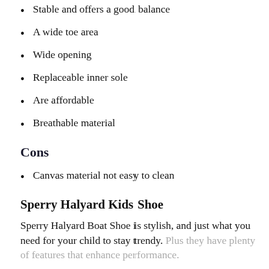Stable and offers a good balance
A wide toe area
Wide opening
Replaceable inner sole
Are affordable
Breathable material
Cons
Canvas material not easy to clean
Sperry Halyard Kids Shoe
Sperry Halyard Boat Shoe is stylish, and just what you need for your child to stay trendy. Plus they have plenty of features that enhance performance.